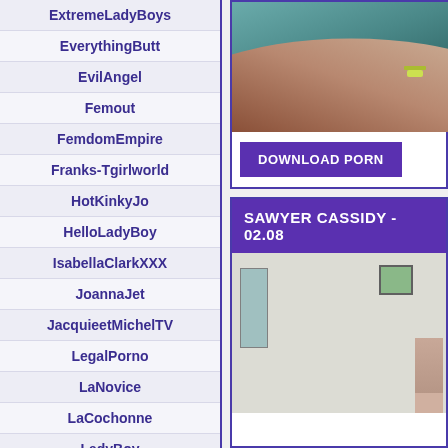ExtremeLadyBoys
EverythingButt
EvilAngel
Femout
FemdomEmpire
Franks-Tgirlworld
HotKinkyJo
HelloLadyBoy
IsabellaClarkXXX
JoannaJet
JacquieetMichelTV
LegalPorno
LaNovice
LaCochonne
LadyBoy
LadyboyGold
LadyboysFuckedBareBack
[Figure (screenshot): Close-up photo showing arm/skin with bracelet, teal background]
DOWNLOAD PORN
SAWYER CASSIDY - 02.08
[Figure (screenshot): Room interior with door on left, framed picture on wall, person partially visible on right]